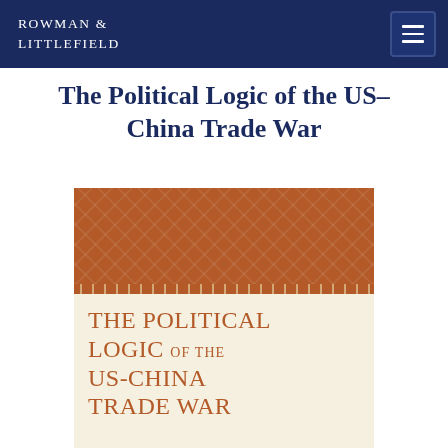ROWMAN & LITTLEFIELD
The Political Logic of the US–China Trade War
[Figure (illustration): Book cover of 'The Political Logic of the US-China Trade War' showing a brown decorative top band with lattice pattern and cream lower portion with terracotta colored serif text reading 'THE POLITICAL LOGIC OF THE US-CHINA TRADE WAR']